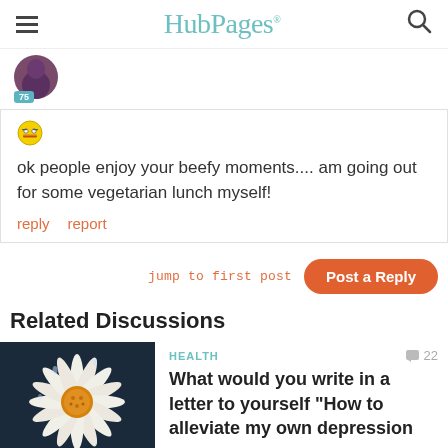HubPages
[Figure (photo): User avatar photo - partial view of person with purple/dark background, score badge showing 75]
[Figure (illustration): Emoji icon - grinning face with glasses]
ok people enjoy your beefy moments.... am going out for some vegetarian lunch myself!
reply   report
jump to first post
Post a Reply
Related Discussions
[Figure (photo): Close-up photo of a white daisy flower with water droplets on petals and yellow center, dark background]
HEALTH
22
What would you write in a letter to yourself "How to alleviate my own depression